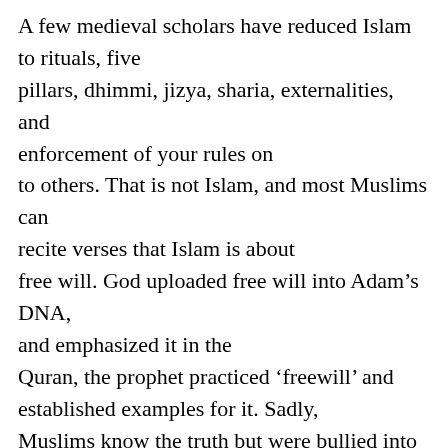A few medieval scholars have reduced Islam to rituals, five pillars, dhimmi, jizya, sharia, externalities, and enforcement of your rules on to others. That is not Islam, and most Muslims can recite verses that Islam is about free will. God uploaded free will into Adam’s DNA, and emphasized it in the Quran, the prophet practiced ‘freewill’ and established examples for it. Sadly, Muslims know the truth but were bullied into silence with fatwa bombs. All I have done is articulated what Muslims believe, but dared not say it. The book is the voice of the majority of ‘American’ Muslims. This book is a product of twenty years of research and thousands of discussions in which Muslims, non-Muslims, and “Islamophobes” have participated in it, including debates on Fox News with Sean Hannity, Stuart Varney, Pamela